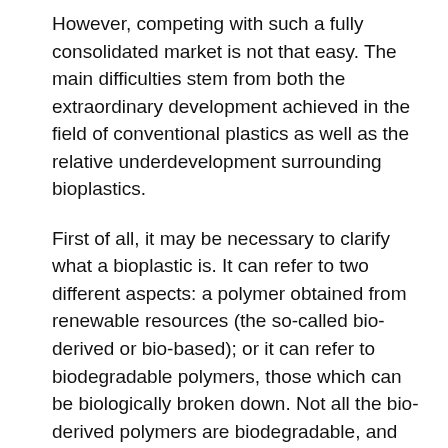However, competing with such a fully consolidated market is not that easy. The main difficulties stem from both the extraordinary development achieved in the field of conventional plastics as well as the relative underdevelopment surrounding bioplastics.
First of all, it may be necessary to clarify what a bioplastic is. It can refer to two different aspects: a polymer obtained from renewable resources (the so-called bio-derived or bio-based); or it can refer to biodegradable polymers, those which can be biologically broken down. Not all the bio-derived polymers are biodegradable, and not all the biodegradable polymers are bio-derived. Needless to say, both options together are preferable.
Polylactic acid (PLA) has become one of the most versatile polymers to substitute conventional plastics in commodity applications. PLA is both bio-derived and